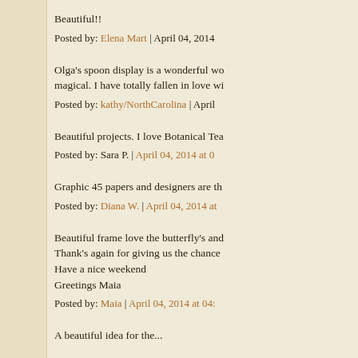Beautiful!!
Posted by: Elena Mart | April 04, 2014
Olga's spoon display is a wonderful wo magical. I have totally fallen in love wi
Posted by: kathy/NorthCarolina | April
Beautiful projects. I love Botanical Tea
Posted by: Sara P. | April 04, 2014 at 0
Graphic 45 papers and designers are th
Posted by: Diana W. | April 04, 2014 at
Beautiful frame love the butterfly's and Thank's again for giving us the chance Have a nice weekend Greetings Maia
Posted by: Maia | April 04, 2014 at 04:
A beautiful idea for the...